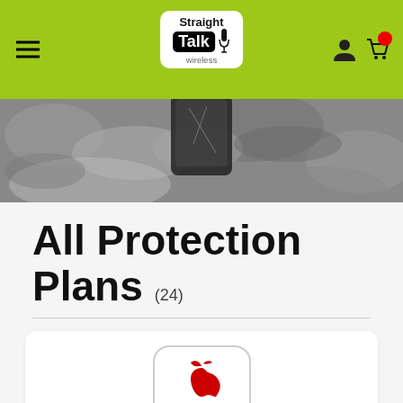Straight Talk Wireless
[Figure (photo): Hero banner showing cracked/damaged smartphone on rocky ground]
All Protection Plans (24)
[Figure (logo): AppleCare Products logo in rounded square box]
Apple Care +